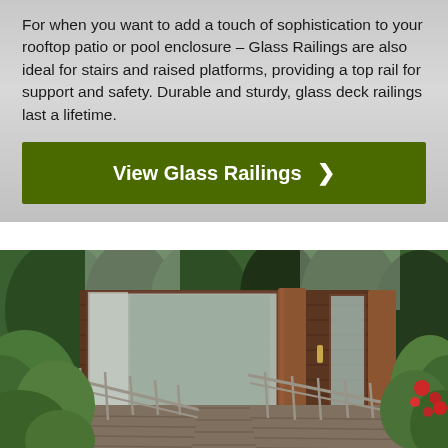For when you want to add a touch of sophistication to your rooftop patio or pool enclosure – Glass Railings are also ideal for stairs and raised platforms, providing a top rail for support and safety. Durable and sturdy, glass deck railings last a lifetime.
View Glass Railings ›
[Figure (photo): Outdoor photo showing a wooden deck with metal railings, stairs leading up to a house entry with large wooden posts and glass panels, surrounded by lush green trees, shrubs, and flowering plants]